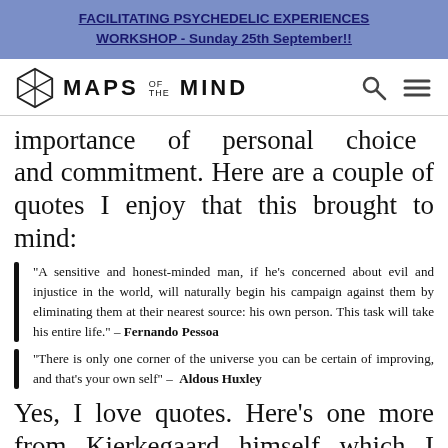FACILITATING PSYCHEDELIC EXPERIENCES WORKSHOP - Sunday 25th September!!
[Figure (logo): Maps of the Mind logo with hexagon icon and site navigation icons]
importance of personal choice and commitment. Here are a couple of quotes I enjoy that this brought to mind:
“A sensitive and honest-minded man, if he’s concerned about evil and injustice in the world, will naturally begin his campaign against them by eliminating them at their nearest source: his own person. This task will take his entire life.” – Fernando Pessoa
“There is only one corner of the universe you can be certain of improving, and that’s your own self” – Aldous Huxley
Yes, I love quotes. Here’s one more from Kierkegaard himself which I think is totally